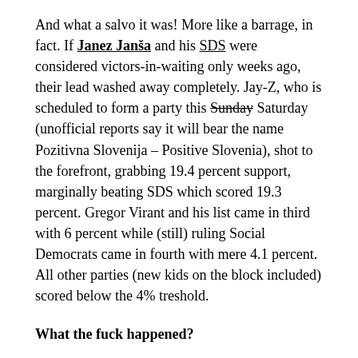And what a salvo it was! More like a barrage, in fact. If Janez Janša and his SDS were considered victors-in-waiting only weeks ago, their lead washed away completely. Jay-Z, who is scheduled to form a party this Sunday Saturday (unofficial reports say it will bear the name Pozitivna Slovenija – Positive Slovenia), shot to the forefront, grabbing 19.4 percent support, marginally beating SDS which scored 19.3 percent. Gregor Virant and his list came in third with 6 percent while (still) ruling Social Democrats came in fourth with mere 4.1 percent. All other parties (new kids on the block included) scored below the 4% treshold.
What the fuck happened?
Nothing special, really. OK, a lot of people, mostly